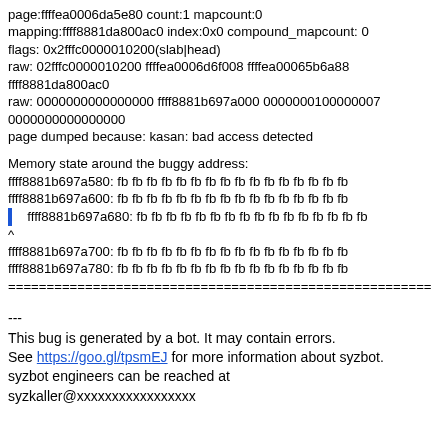page:ffffea0006da5e80 count:1 mapcount:0
mapping:ffff8881da800ac0 index:0x0 compound_mapcount: 0
flags: 0x2fffc0000010200(slab|head)
raw: 02fffc0000010200 ffffea0006d6f008 ffffea00065b6a88 ffff8881da800ac0
raw: 0000000000000000 ffff8881b697a000 0000000100000007 0000000000000000
page dumped because: kasan: bad access detected
Memory state around the buggy address:
ffff8881b697a580: fb fb fb fb fb fb fb fb fb fb fb fb fb fb fb fb
ffff8881b697a600: fb fb fb fb fb fb fb fb fb fb fb fb fb fb fb fb
>  ffff8881b697a680: fb fb fb fb fb fb fb fb fb fb fb fb fb fb fb fb
^
ffff8881b697a700: fb fb fb fb fb fb fb fb fb fb fb fb fb fb fb fb
ffff8881b697a780: fb fb fb fb fb fb fb fb fb fb fb fb fb fb fb fb
===========================================================
---
This bug is generated by a bot. It may contain errors.
See https://goo.gl/tpsmEJ for more information about syzbot.
syzbot engineers can be reached at
syzkaller@xxxxxxxxxxxxxxxxx